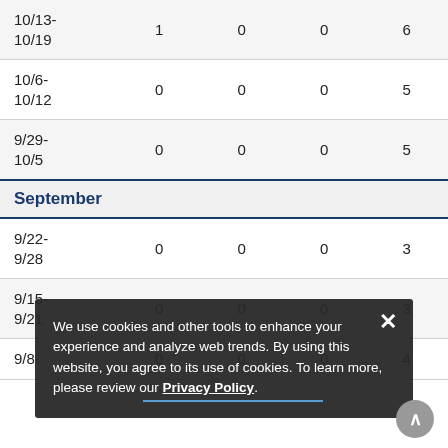| Date |  |  |  |  |
| --- | --- | --- | --- | --- |
| 10/13-
10/19 | 1 | 0 | 0 | 6 |
| 10/6-
10/12 | 0 | 0 | 0 | 5 |
| 9/29-
10/5 | 0 | 0 | 0 | 5 |
| September |  |  |  |  |
| 9/22-
9/28 | 0 | 0 | 0 | 3 |
| 9/15-
9/21 | 0 | 0 | 0 | 3 |
| 9/8- | 0 | 0 | 0 | 4 |
[Figure (screenshot): Cookie consent banner overlay: 'We use cookies and other tools to enhance your experience and analyze web trends. By using this website, you agree to its use of cookies. To learn more, please review our Privacy Policy.' with close X button and scroll-up button.]